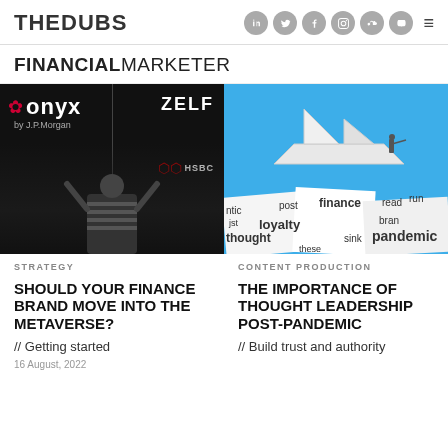THEDUBS
FINANCIAL MARKETER
[Figure (photo): Left: Black and white photo of a person wearing VR headset with ONYX by J.P.Morgan and ZELF and HSBC brand logos overlaid on dark background. Right: Illustration of a person standing on a paper boat on blue background with word cloud text fragments: ntic, post, finance, read, run, lst, loyalty, bran, thought, sink, pandemic, these]
STRATEGY
CONTENT PRODUCTION
SHOULD YOUR FINANCE BRAND MOVE INTO THE METAVERSE?
THE IMPORTANCE OF THOUGHT LEADERSHIP POST-PANDEMIC
// Getting started
// Build trust and authority
16 August, 2022